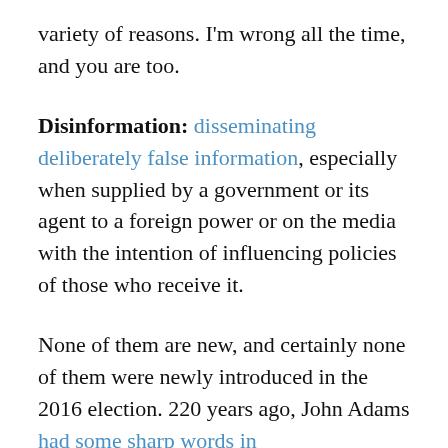variety of reasons. I'm wrong all the time, and you are too.
Disinformation: disseminating deliberately false information, especially when supplied by a government or its agent to a foreign power or on the media with the intention of influencing policies of those who receive it.
None of them are new, and certainly none of them were newly introduced in the 2016 election. 220 years ago, John Adams had some sharp words in